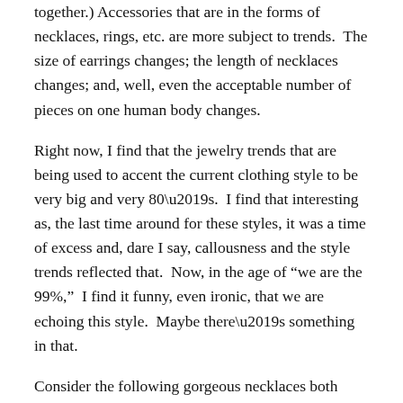together.) Accessories that are in the forms of necklaces, rings, etc. are more subject to trends. The size of earrings changes; the length of necklaces changes; and, well, even the acceptable number of pieces on one human body changes.
Right now, I find that the jewelry trends that are being used to accent the current clothing style to be very big and very 80's. I find that interesting as, the last time around for these styles, it was a time of excess and, dare I say, callousness and the style trends reflected that. Now, in the age of “we are the 99%,” I find it funny, even ironic, that we are echoing this style. Maybe there’s something in that.
Consider the following gorgeous necklaces both available for purchase on the Nordstrom website. Both the